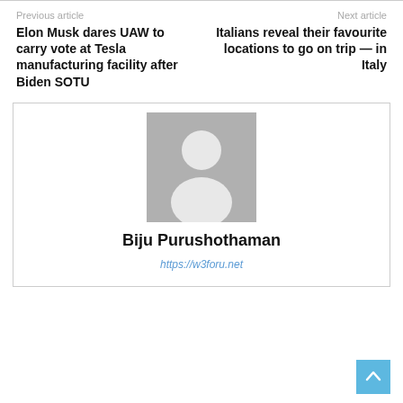Previous article
Next article
Elon Musk dares UAW to carry vote at Tesla manufacturing facility after Biden SOTU
Italians reveal their favourite locations to go on trip — in Italy
[Figure (illustration): Default avatar placeholder image — grey background with white silhouette of a person]
Biju Purushothaman
https://w3foru.net